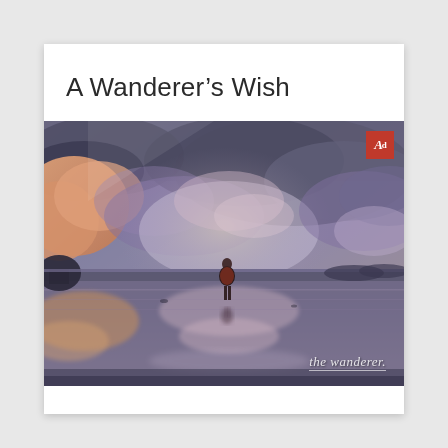A Wanderer's Wish
[Figure (photo): A lone figure stands on a wet reflective beach or flat surface, facing away toward a dramatic cloudy sky at dusk or dawn with warm orange and purple tones. The scene is reflected in the water below. A small red logo badge with 'A d' is in the top right corner. A cursive watermark 'the wanderer.' appears at the bottom right.]